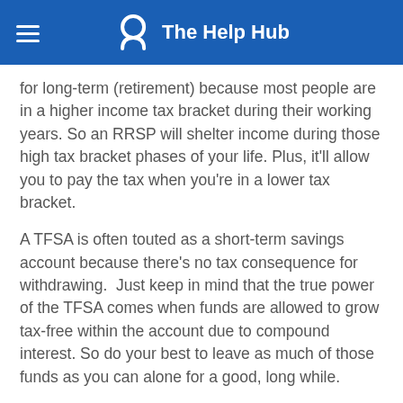The Help Hub
for long-term (retirement) because most people are in a higher income tax bracket during their working years. So an RRSP will shelter income during those high tax bracket phases of your life. Plus, it'll allow you to pay the tax when you're in a lower tax bracket.
A TFSA is often touted as a short-term savings account because there's no tax consequence for withdrawing.  Just keep in mind that the true power of the TFSA comes when funds are allowed to grow tax-free within the account due to compound interest. So do your best to leave as much of those funds as you can alone for a good, long while.
Contribution limit
The maximum amount you can contribute to your